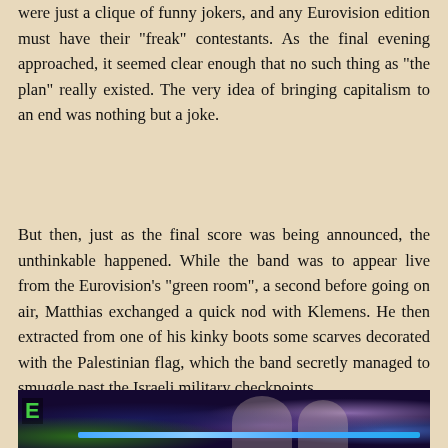were just a clique of funny jokers, and any Eurovision edition must have their “freak” contestants. As the final evening approached, it seemed clear enough that no such thing as “the plan” really existed. The very idea of bringing capitalism to an end was nothing but a joke.
But then, just as the final score was being announced, the unthinkable happened. While the band was to appear live from the Eurovision’s “green room”, a second before going on air, Matthias exchanged a quick nod with Klemens. He then extracted from one of his kinky boots some scarves decorated with the Palestinian flag, which the band secretly managed to smuggle past the Israeli military checkpoints.
[Figure (photo): Bottom portion of a photo showing people in a Eurovision green room setting, with a dark blue/purple stage-lit background. A green 'E' logo visible at left edge and blue light bar near bottom.]